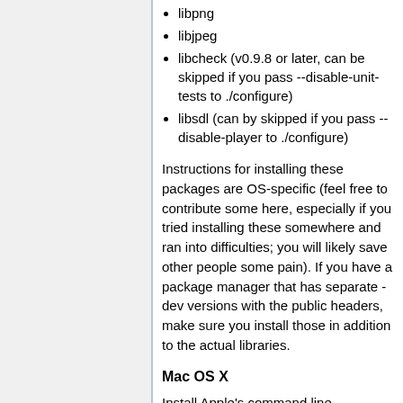libpng
libjpeg
libcheck (v0.9.8 or later, can be skipped if you pass --disable-unit-tests to ./configure)
libsdl (can by skipped if you pass --disable-player to ./configure)
Instructions for installing these packages are OS-specific (feel free to contribute some here, especially if you tried installing these somewhere and ran into difficulties; you will likely save other people some pain). If you have a package manager that has separate -dev versions with the public headers, make sure you install those in addition to the actual libraries.
Mac OS X
Install Apple's command line developer